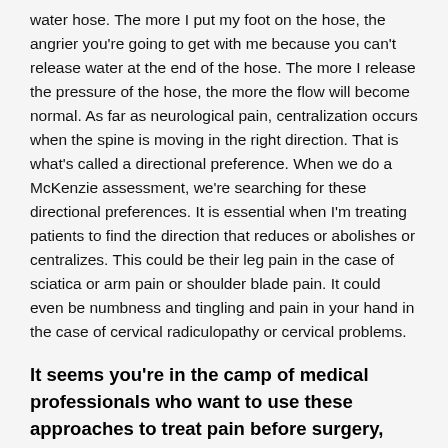water hose. The more I put my foot on the hose, the angrier you're going to get with me because you can't release water at the end of the hose. The more I release the pressure of the hose, the more the flow will become normal. As far as neurological pain, centralization occurs when the spine is moving in the right direction. That is what's called a directional preference. When we do a McKenzie assessment, we're searching for these directional preferences. It is essential when I'm treating patients to find the direction that reduces or abolishes or centralizes. This could be their leg pain in the case of sciatica or arm pain or shoulder blade pain. It could even be numbness and tingling and pain in your hand in the case of cervical radiculopathy or cervical problems.
It seems you're in the camp of medical professionals who want to use these approaches to treat pain before surgery, injections or even heavy use of pain killers. Are more professionals moving this way?